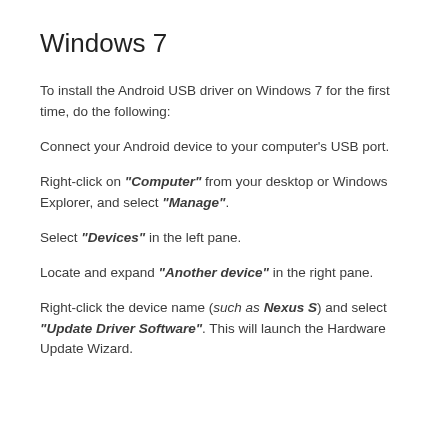Windows 7
To install the Android USB driver on Windows 7 for the first time, do the following:
Connect your Android device to your computer's USB port.
Right-click on "Computer" from your desktop or Windows Explorer, and select "Manage".
Select "Devices" in the left pane.
Locate and expand "Another device" in the right pane.
Right-click the device name (such as Nexus S) and select "Update Driver Software". This will launch the Hardware Update Wizard.